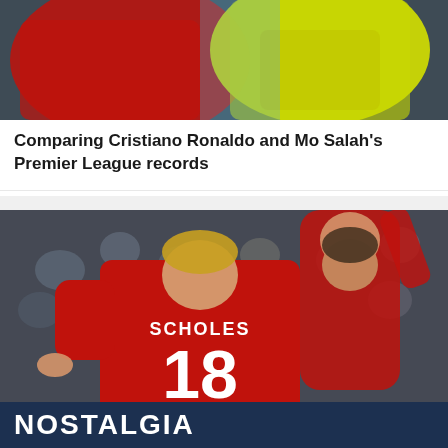[Figure (photo): Two football players, one in red Manchester United kit and one in yellow kit, cropped at torso level]
Comparing Cristiano Ronaldo and Mo Salah's Premier League records
[Figure (photo): Paul Scholes wearing Manchester United No.18 jersey celebrating with Ryan Giggs, crowd in background]
Ranking every Manchester United No.18 of the Premier League era
NOSTALGIA